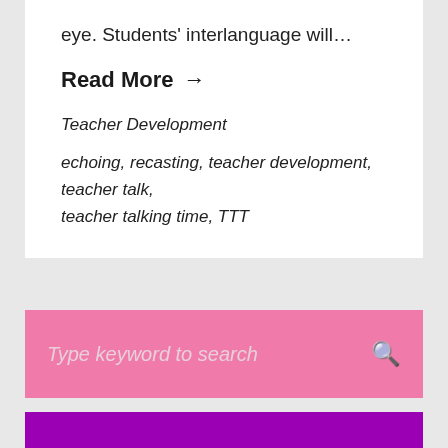eye. Students' interlanguage will…
Read More →
Teacher Development
echoing, recasting, teacher development, teacher talk, teacher talking time, TTT
[Figure (screenshot): Pink search bar with placeholder text 'Type keyword to search' and a search icon on the right]
[Figure (logo): Purple banner with partial white logo/text visible at bottom, appears to be a Corbeca or similar brand logo]